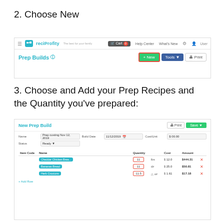2. Choose New
[Figure (screenshot): Screenshot of reciprofity app showing Prep Builds page with a highlighted green New button and Tools and Print buttons in the top right.]
3. Choose and Add your Prep Recipes and the Quantity you've prepared:
[Figure (screenshot): Screenshot of reciprofity app showing New Prep Build form with fields for name, date, status, and a table with three prep recipe rows (Chedddar Chicken Brea, Bananas Bread, Herb Croutons) each with a quantity highlighted in a red-outlined box, unit, cost, and amount columns.]